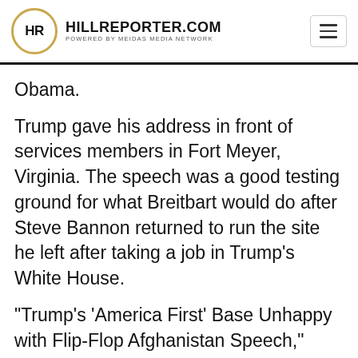HILLREPORTER.COM POWERED BY MEIDAS MEDIA NETWORK
Obama.
Trump gave his address in front of services members in Fort Meyer, Virginia. The speech was a good testing ground for what Breitbart would do after Steve Bannon returned to run the site he left after taking a job in Trump’s White House.
“Trump’s ‘America First’ Base Unhappy with Flip-Flop Afghanistan Speech,”